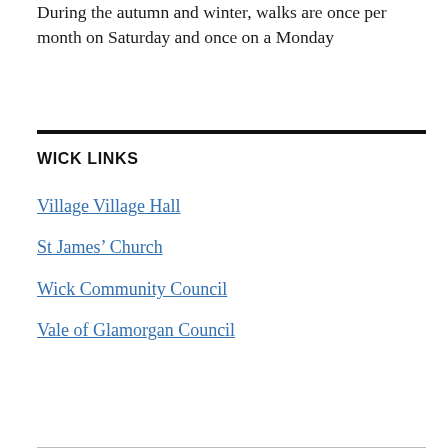During the autumn and winter, walks are once per month on Saturday and once on a Monday
WICK LINKS
Village Village Hall
St James’ Church
Wick Community Council
Vale of Glamorgan Council